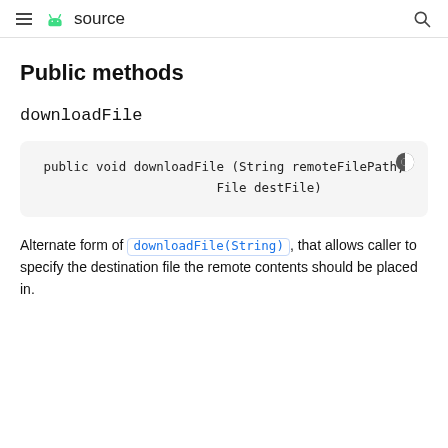≡ Android source
Public methods
downloadFile
public void downloadFile (String remoteFilePath,
            File destFile)
Alternate form of downloadFile(String), that allows caller to specify the destination file the remote contents should be placed in.